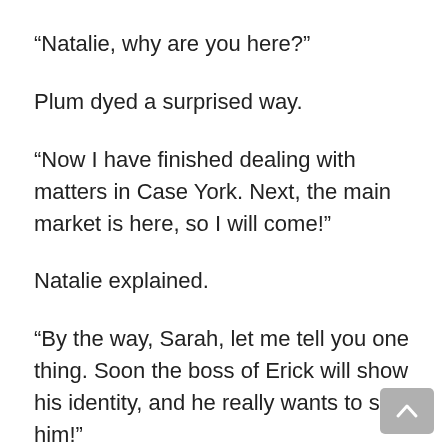“Natalie, why are you here?”
Plum dyed a surprised way.
“Now I have finished dealing with matters in Case York. Next, the main market is here, so I will come!”
Natalie explained.
“By the way, Sarah, let me tell you one thing. Soon the boss of Erick will show his identity, and he really wants to see him!”
Hearing that, Sarah is also looking forward to it.